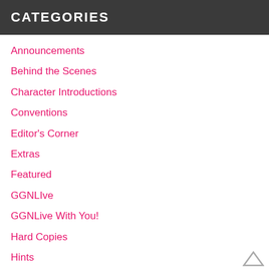CATEGORIES
Announcements
Behind the Scenes
Character Introductions
Conventions
Editor's Corner
Extras
Featured
GGNLIve
GGNLive With You!
Hard Copies
Hints
Image Editor's Corner
Interviews
Introduction